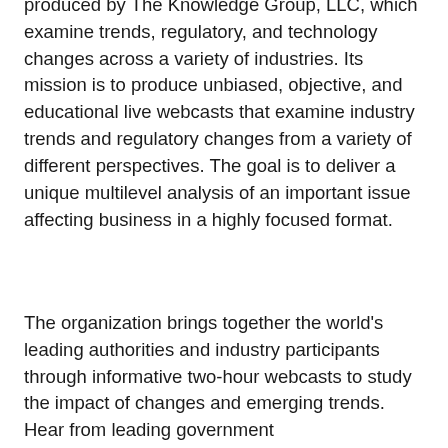produced by The Knowledge Group, LLC, which examine trends, regulatory, and technology changes across a variety of industries. Its mission is to produce unbiased, objective, and educational live webcasts that examine industry trends and regulatory changes from a variety of different perspectives. The goal is to deliver a unique multilevel analysis of an important issue affecting business in a highly focused format.
The organization brings together the world's leading authorities and industry participants through informative two-hour webcasts to study the impact of changes and emerging trends. Hear from leading government officials/regulators, key thought leaders, and industry experts objectively analyze the latest trends and issues and their impact on industries. For further details, please visit the organization's